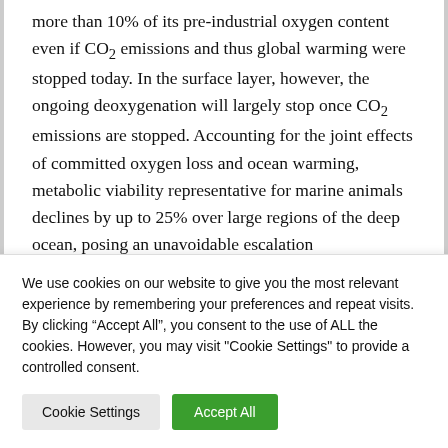more than 10% of its pre-industrial oxygen content even if CO₂ emissions and thus global warming were stopped today. In the surface layer, however, the ongoing deoxygenation will largely stop once CO₂ emissions are stopped. Accounting for the joint effects of committed oxygen loss and ocean warming, metabolic viability representative for marine animals declines by up to 25% over large regions of the deep ocean, posing an unavoidable escalation
We use cookies on our website to give you the most relevant experience by remembering your preferences and repeat visits. By clicking "Accept All", you consent to the use of ALL the cookies. However, you may visit "Cookie Settings" to provide a controlled consent.